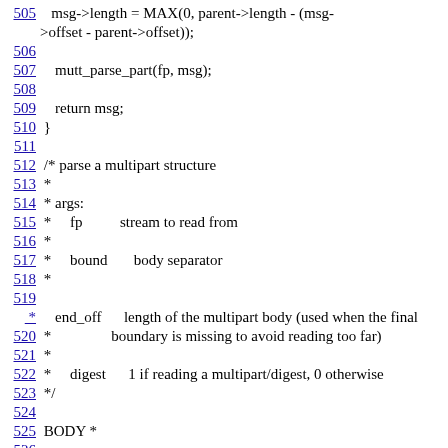505    msg->length = MAX(0, parent->length - (msg->offset - parent->offset));
506
507    mutt_parse_part(fp, msg);
508
509    return msg;
510 }
511
512 /* parse a multipart structure
513 *
514 * args:
515 *     fp          stream to read from
516 *
517 *     bound       body separator
518 *
519
*    end_off      length of the multipart body (used when the final
520 *                boundary is missing to avoid reading too far)
521 *
522 *     digest      1 if reading a multipart/digest, 0 otherwise
523 */
524
525 BODY *
526
mutt_parse_multipart(FILE *fp, const char *bound, off_t end_off, in